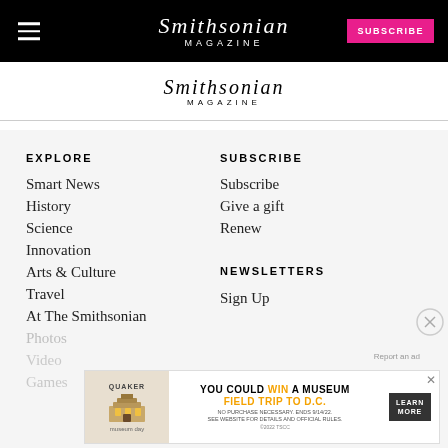Smithsonian MAGAZINE — SUBSCRIBE
[Figure (logo): Smithsonian Magazine secondary logo]
EXPLORE
Smart News
History
Science
Innovation
Arts & Culture
Travel
At The Smithsonian
Photos
Video
Games
SUBSCRIBE
Subscribe
Give a gift
Renew
NEWSLETTERS
Sign Up
[Figure (infographic): Quaker advertisement: YOU COULD WIN A MUSEUM FIELD TRIP TO D.C. — LEARN MORE. No purchase necessary. Ends 9/14/22.]